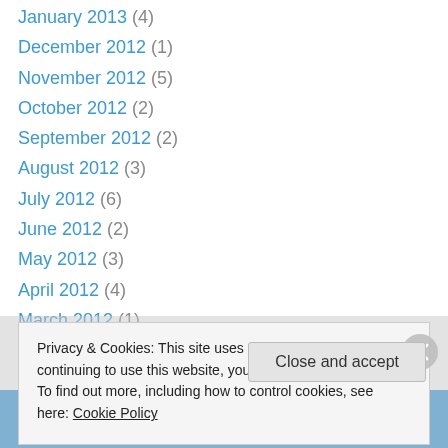January 2013 (4)
December 2012 (1)
November 2012 (5)
October 2012 (2)
September 2012 (2)
August 2012 (3)
July 2012 (6)
June 2012 (2)
May 2012 (3)
April 2012 (4)
March 2012 (1)
January 2012 (1)
December 2011 (3)
Privacy & Cookies: This site uses cookies. By continuing to use this website, you agree to their use. To find out more, including how to control cookies, see here: Cookie Policy
Close and accept